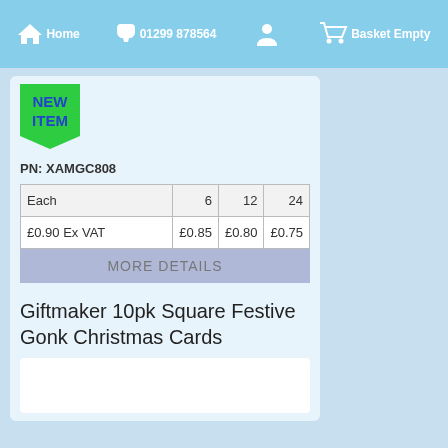Home  01299 878564  [user icon]  Basket Empty
[Figure (logo): Green NEW ITEM badge/stamp in pentagon shape]
PN: XAMGC808
| Each | 6 | 12 | 24 |
| --- | --- | --- | --- |
| £0.90 Ex VAT | £0.85 | £0.80 | £0.75 |
MORE DETAILS
1
BUY
Giftmaker 10pk Square Festive Gonk Christmas Cards